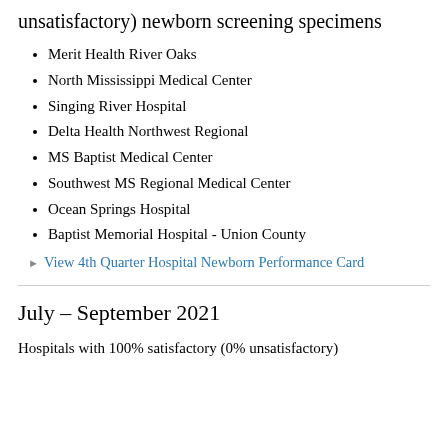unsatisfactory) newborn screening specimens
Merit Health River Oaks
North Mississippi Medical Center
Singing River Hospital
Delta Health Northwest Regional
MS Baptist Medical Center
Southwest MS Regional Medical Center
Ocean Springs Hospital
Baptist Memorial Hospital - Union County
▶ View 4th Quarter Hospital Newborn Performance Card
July – September 2021
Hospitals with 100% satisfactory (0% unsatisfactory)